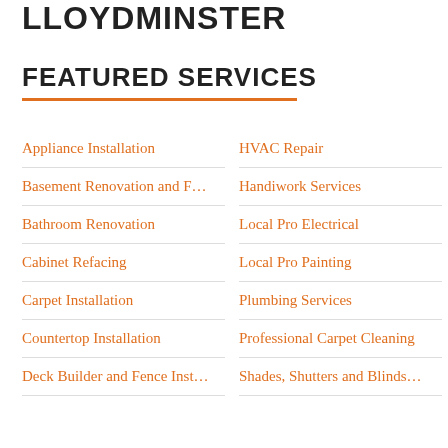LLOYDMINSTER
FEATURED SERVICES
Appliance Installation
HVAC Repair
Basement Renovation and F…
Handiwork Services
Bathroom Renovation
Local Pro Electrical
Cabinet Refacing
Local Pro Painting
Carpet Installation
Plumbing Services
Countertop Installation
Professional Carpet Cleaning
Deck Builder and Fence Inst…
Shades, Shutters and Blinds…